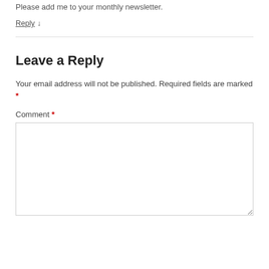Please add me to your monthly newsletter.
Reply ↓
Leave a Reply
Your email address will not be published. Required fields are marked *
Comment *